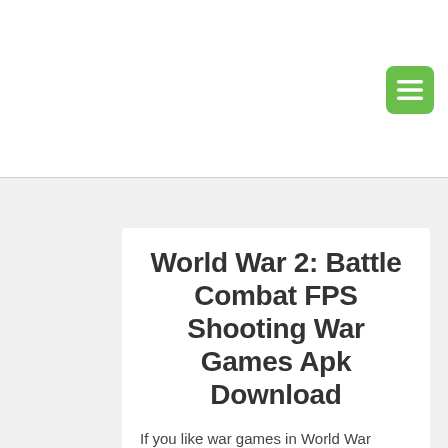[Figure (other): Green hamburger menu button icon in top right corner of page header]
World War 2: Battle Combat FPS Shooting War Games Apk Download
If you like war games in World War setting, you will definitely need to play this shooter game. Amazing graphics, exciting gameplay, lots of historic weapons and armor will give you an ability to plunge